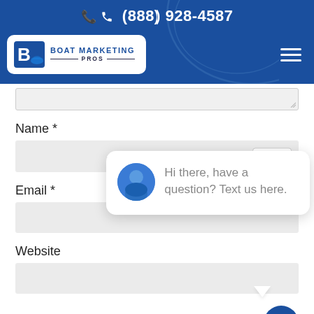(888) 928-4587
[Figure (logo): Boat Marketing Pros logo - white rounded rectangle with blue 'B' icon and boat silhouette, text 'BOAT MARKETING PROS']
Name *
close
Email *
Hi there, have a question? Text us here.
Website